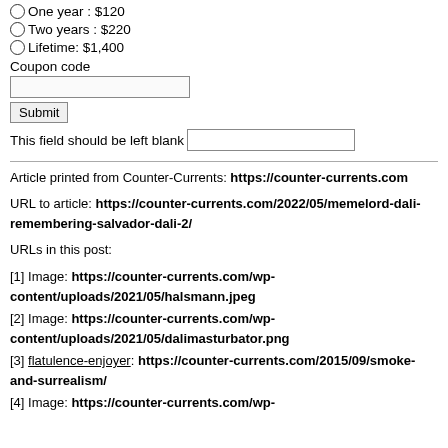One year : $120
Two years : $220
Lifetime: $1,400
Coupon code
Submit
This field should be left blank
Article printed from Counter-Currents: https://counter-currents.com
URL to article: https://counter-currents.com/2022/05/memelord-dali-remembering-salvador-dali-2/
URLs in this post:
[1] Image: https://counter-currents.com/wp-content/uploads/2021/05/halsmann.jpeg
[2] Image: https://counter-currents.com/wp-content/uploads/2021/05/dalimasturbator.png
[3] flatulence-enjoyer: https://counter-currents.com/2015/09/smoke-and-surrealism/
[4] Image: https://counter-currents.com/wp-